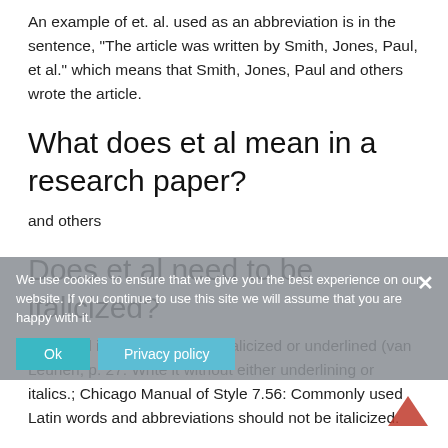An example of et. al. used as an abbreviation is in the sentence, “The article was written by Smith, Jones, Paul, et al.” which means that Smith, Jones, Paul and others wrote the article.
What does et al mean in a research paper?
and others
Does et al need to be italicized?
Latin and italics: et al. is not italicized or underlined (van Leunen, p. 27: Write it without either underlining or italics.; Chicago Manual of Style 7.56: Commonly used Latin words and abbreviations should not be italicized.
How do you cite a peer reviewed article in text?
We use cookies to ensure that we give you the best experience on our website. If you continue to use this site we will assume that you are happy with it.